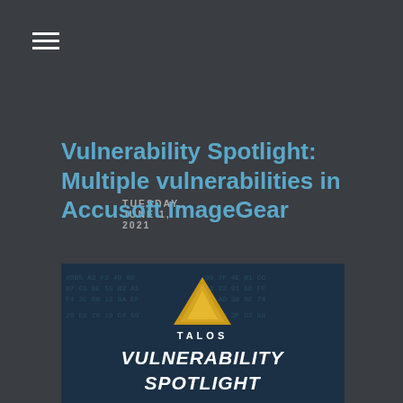≡
TUESDAY, JUNE 1, 2021
Vulnerability Spotlight: Multiple vulnerabilities in Accusoft ImageGear
[Figure (illustration): Talos Vulnerability Spotlight banner image with dark blue hexagonal background pattern, a gold/yellow triangular Talos logo, the text 'TALOS' and 'VULNERABILITY SPOTLIGHT' in white bold italic letters]